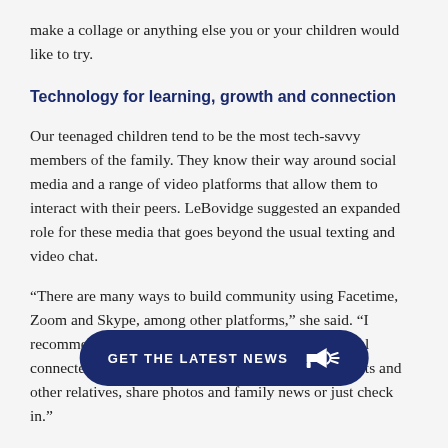make a collage or anything else you or your children would like to try.
Technology for learning, growth and connection
Our teenaged children tend to be the most tech-savvy members of the family. They know their way around social media and a range of video platforms that allow them to interact with their peers. LeBovidge suggested an expanded role for these media that goes beyond the usual texting and video chat.
“There are many ways to build community using Facetime, Zoom and Skype, among other platforms,” she said. “I recommend using these to strengthen intergenerational connectedness. Kids can reach out to their grandparents and other relatives, share photos and family news or just check in.”
Don’t hesitate to get creative, she added. Working parents can enjoy a virtual coffee break with their co-workers. Teens can get together for a Netflix par... kids can engage in virtual... or face-painting. And the entire extended family can come